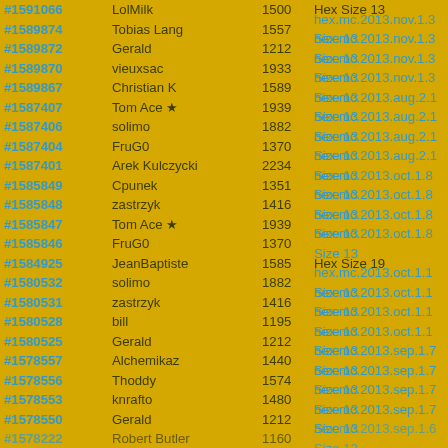#1591066 LolMilk 1500 Hex Size 13
#1589874 Tobias Lang 1557 hex.mc.2013.nov.1.3 Size 13
#1589872 Gerald 1212 hex.mc.2013.nov.1.3 Size 13
#1589870 vieuxsac 1933 hex.mc.2013.nov.1.3 Size 13
#1589867 Christian K 1589 hex.mc.2013.nov.1.3 Size 13
#1587407 Tom Ace ★ 1939 hex.mc.2013.aug.2.1 Size 13
#1587406 solimo 1882 hex.mc.2013.aug.2.1 Size 13
#1587404 FruG0 1370 hex.mc.2013.aug.2.1 Size 13
#1587401 Arek Kulczycki 2234 hex.mc.2013.aug.2.1 Size 13
#1585849 Cpunek 1351 hex.mc.2013.oct.1.8 Size 13
#1585848 zastrzyk 1416 hex.mc.2013.oct.1.8 Size 13
#1585847 Tom Ace ★ 1939 hex.mc.2013.oct.1.8 Size 13
#1585846 FruG0 1370 hex.mc.2013.oct.1.8 Size 13
#1584925 JeanBaptiste 1585 Hex Size 19
#1580532 solimo 1882 hex.mc.2013.oct.1.1 Size 13
#1580531 zastrzyk 1416 hex.mc.2013.oct.1.1 Size 13
#1580528 bill 1195 hex.mc.2013.oct.1.1 Size 13
#1580525 Gerald 1212 hex.mc.2013.oct.1.1 Size 13
#1578557 Alchemikaz 1440 hex.mc.2013.sep.1.7 Size 13
#1578556 Thoddy 1574 hex.mc.2013.sep.1.7 Size 13
#1578553 knrafto 1480 hex.mc.2013.sep.1.7 Size 13
#1578550 Gerald 1212 hex.mc.2013.sep.1.7 Size 13
#1578222 Robert Butler 1160 hex.mc.2013.sep.1.6 Size 13